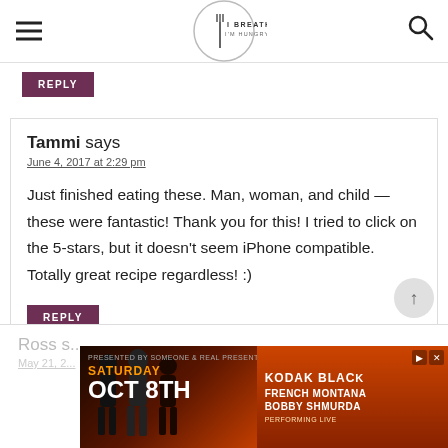I BREATHE I'M HUNGRY
REPLY
Tammi says
June 4, 2017 at 2:29 pm
Just finished eating these. Man, woman, and child — these were fantastic! Thank you for this! I tried to click on the 5-stars, but it doesn't seem iPhone compatible. Totally great recipe regardless! :)
REPLY
Ross s...
May 21, 2...
[Figure (screenshot): Advertisement banner for a music event on Saturday Oct 8th featuring Kodak Black, French Montana, Bobby Shmurda]